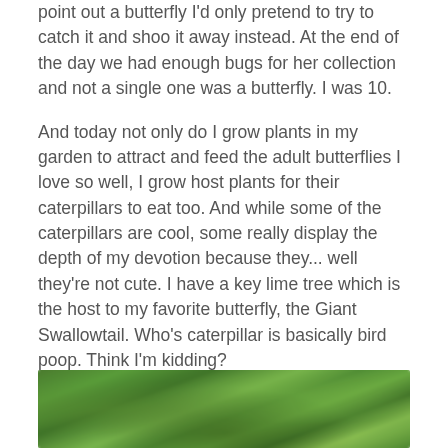point out a butterfly I'd only pretend to try to catch it and shoo it away instead. At the end of the day we had enough bugs for her collection and not a single one was a butterfly. I was 10.
And today not only do I grow plants in my garden to attract and feed the adult butterflies I love so well, I grow host plants for their caterpillars to eat too. And while some of the caterpillars are cool, some really display the depth of my devotion because they... well they're not cute. I have a key lime tree which is the host to my favorite butterfly, the Giant Swallowtail. Who's caterpillar is basically bird poop. Think I'm kidding?
[Figure (photo): Close-up photo of green plant leaves, blurred/bokeh style background, showing lush green foliage]